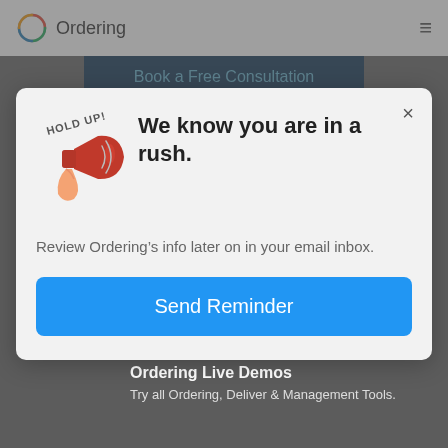Ordering
[Figure (screenshot): Modal popup on Ordering website with megaphone illustration labeled 'HOLD UP!', headline 'We know you are in a rush.', subtext 'Review Ordering's info later on in your email inbox.', and a blue 'Send Reminder' button.]
We know you are in a rush.
Review Ordering’s info later on in your email inbox.
Send Reminder
you
Ordering Live Demos
Try all Ordering, Deliver & Management Tools.